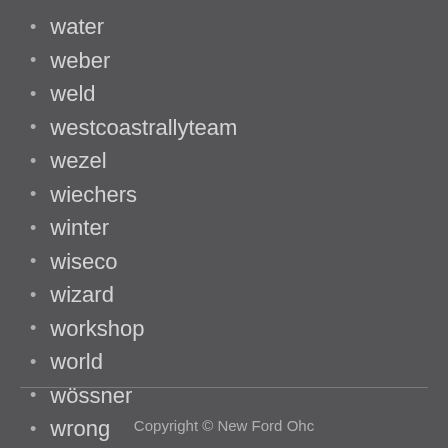water
weber
weld
westcoastrallyteam
wezel
wiechers
winter
wiseco
wizard
workshop
world
wössner
wrong
zündverteiler
Copyright © New Ford Ohc